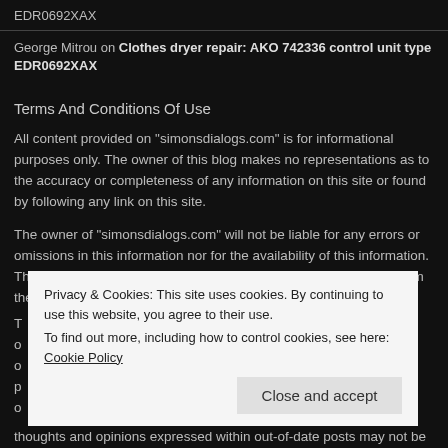EDR0692XAX
George Mitrou on Clothes dryer repair: AKO 742336 control unit type EDR0692XAX
Terms And Conditions Of Use
All content provided on "simonsdialogs.com" is for informational purposes only. The owner of this blog makes no representations as to the accuracy or completeness of any information on this site or found by following any link on this site.
The owner of "simonsdialogs.com" will not be liable for any errors or omissions in this information nor for the availability of this information. The owner will not be liable for any losses, injuries, or damages from the display or use of this information.
thoughts and opinions expressed within out-of-date posts may not be
Privacy & Cookies: This site uses cookies. By continuing to use this website, you agree to their use.
To find out more, including how to control cookies, see here: Cookie Policy
Close and accept